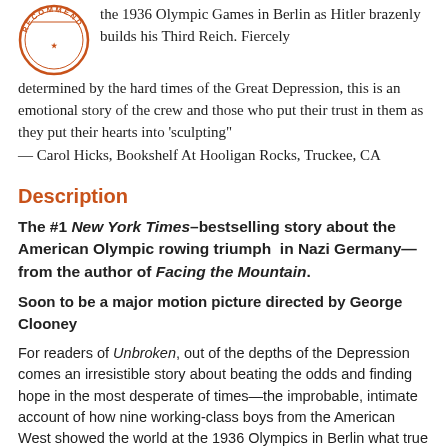[Figure (logo): Circular stamp/seal logo with text 'RECOMMEND' around the border in orange/brown color]
the 1936 Olympic Games in Berlin as Hitler brazenly builds his Third Reich. Fiercely determined by the hard times of the Great Depression, this is an emotional story of the crew and those who put their trust in them as they put their hearts into 'sculpting"
— Carol Hicks, Bookshelf At Hooligan Rocks, Truckee, CA
Description
The #1 New York Times–bestselling story about the American Olympic rowing triumph  in Nazi Germany—from the author of Facing the Mountain.
Soon to be a major motion picture directed by George Clooney
For readers of Unbroken, out of the depths of the Depression comes an irresistible story about beating the odds and finding hope in the most desperate of times—the improbable, intimate account of how nine working-class boys from the American West showed the world at the 1936 Olympics in Berlin what true grit really meant.
It was an unlikely quest from the start. With a team composed